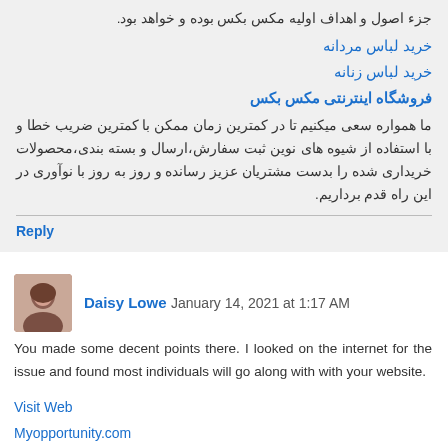جزء اصول و اهداف اولیه مکس بکس بوده و خواهد بود.
خرید لباس مردانه
خرید لباس زنانه
فروشگاه اینترنتی مکس بکس
ما همواره سعی میکنیم تا در کمترین زمان ممکن با کمترین ضریب خطا و با استفاده از شیوه های نوین ثبت سفارش،ارسال و بسته بندی،محصولات خریداری شده را بدست مشتریان عزیز رسانده و روز به روز با نوآوری در این راه قدم برداریم.
Reply
Daisy Lowe  January 14, 2021 at 1:17 AM
You made some decent points there. I looked on the internet for the issue and found most individuals will go along with with your website.
Visit Web
Myopportunity.com
Information